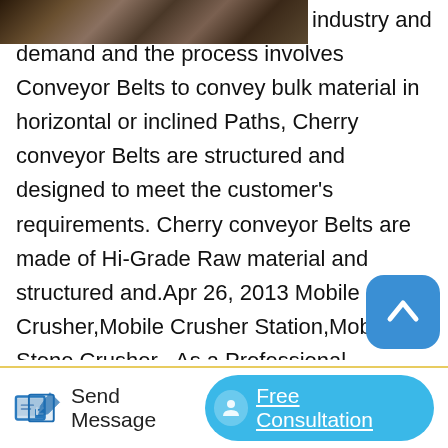[Figure (photo): Partial view of industrial machinery or conveyor equipment, partially cropped at top of page]
industry and in high demand and the process involves Conveyor Belts to convey bulk material in horizontal or inclined Paths, Cherry conveyor Belts are structured and designed to meet the customer's requirements. Cherry conveyor Belts are made of Hi-Grade Raw material and structured and.Apr 26, 2013 Mobile Crusher,Mobile Crusher Station,Mobile Stone Crusher . As a Professional Manufacturer of Mobile Crusher,Our crusher Machinery Provides Mobile Crushing Station,Mobile Stone Crusher,Mobile Crushing Station,Mobile Rock Crusher. The portable crawler crushing screening plant, made by Our crusher, is a new detailed.Product Description. Leveraging on our in-house production unit, we are presenting a
[Figure (other): Scroll-to-top button: rounded square blue button with upward chevron arrow icon]
Send Message   Free Consultation